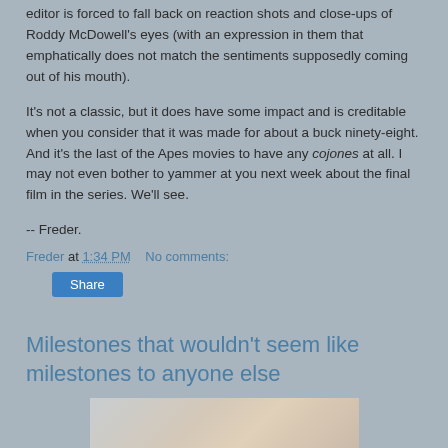editor is forced to fall back on reaction shots and close-ups of Roddy McDowell's eyes (with an expression in them that emphatically does not match the sentiments supposedly coming out of his mouth).
It's not a classic, but it does have some impact and is creditable when you consider that it was made for about a buck ninety-eight. And it's the last of the Apes movies to have any cojones at all. I may not even bother to yammer at you next week about the final film in the series. We'll see.
-- Freder.
Freder at 1:34 PM    No comments:
Share
Milestones that wouldn't seem like milestones to anyone else
[Figure (photo): Partial image visible at bottom of page, appears to be a photo showing some objects, partially cut off]